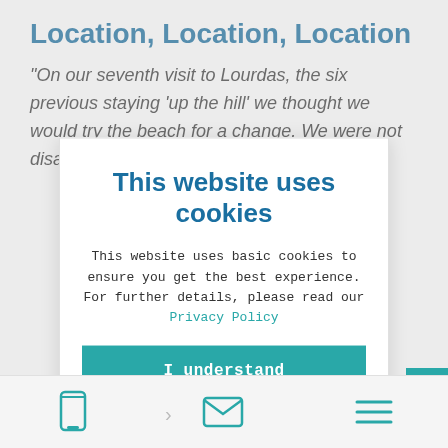Location, Location, Location
"On our seventh visit to Lourdas, the six previous staying 'up the hill' we thought we would try the beach for a change. We were not disappointed.
This website uses cookies
This website uses basic cookies to ensure you get the best experience. For further details, please read our Privacy Policy
I understand